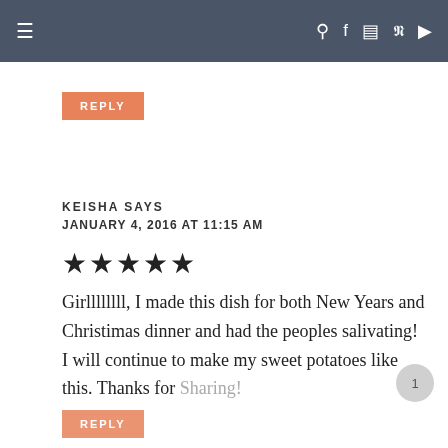≡   🔍 f 📷 p ▶
REPLY
KEISHA SAYS
JANUARY 4, 2016 AT 11:15 AM
★★★★★
Girllllllll, I made this dish for both New Years and Christimas dinner and had the peoples salivating! I will continue to make my sweet potatoes like this. Thanks for Sharing!
REPLY